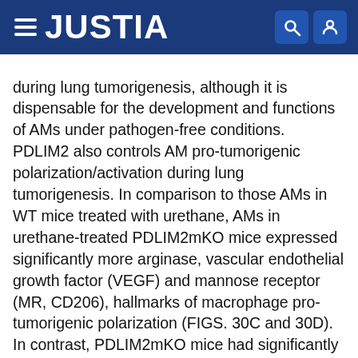JUSTIA
during lung tumorigenesis, although it is dispensable for the development and functions of AMs under pathogen-free conditions. PDLIM2 also controls AM pro-tumorigenic polarization/activation during lung tumorigenesis. In comparison to those AMs in WT mice treated with urethane, AMs in urethane-treated PDLIM2mKO mice expressed significantly more arginase, vascular endothelial growth factor (VEGF) and mannose receptor (MR, CD206), hallmarks of macrophage pro-tumorigenic polarization (FIGS. 30C and 30D). In contrast, PDLIM2mKO mice had significantly lower activation of pulmonary CD8+ T cells compared to WT mice, as evidenced by decreased expression of interferon-γ (IFNγ), granzyme B and CD44 in those CTLs (FIGS. 30E and 30F). The total numbers of lung CD4+ and CD8+ T cells as well as CD4+ T-cell activation and Treg cell differentiation were comparable in those mice (FIG.